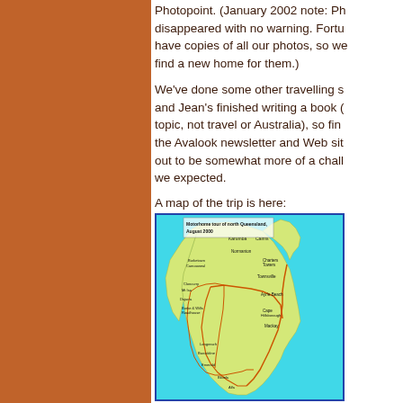Photopoint. (January 2002 note: Ph... disappeared with no warning. Fortu... have copies of all our photos, so we... find a new home for them.)
We've done some other travelling s... and Jean's finished writing a book (... topic, not travel or Australia), so fin... the Avalook newsletter and Web sit... out to be somewhat more of a chall... we expected.
A map of the trip is here:
[Figure (map): Map titled 'Motorhome tour of north Queensland, August 2000' showing route through north Queensland, Australia, with locations including Cairns, Townsville, Charters Towers, Mackay, Bowen, Ayr/Alva Beach, Cape Hillsborough, Karumba, Normanton, Burketown, Cloncurry, Longreach, Barcaldine, Mt Isa, Dajarra, Alfa, and other Queensland towns. The map shows the coastline, roads/routes marked in orange/red, with the ocean in turquoise/cyan and land in yellow-green.]
Enough! We hope you enjoy this ve... issue and find it interesting. P.S. W...